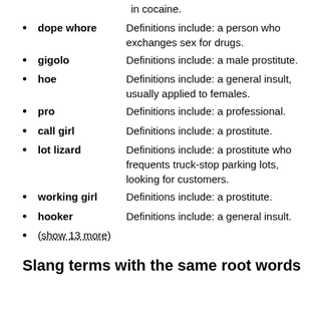in cocaine.
dope whore — Definitions include: a person who exchanges sex for drugs.
gigolo — Definitions include: a male prostitute.
hoe — Definitions include: a general insult, usually applied to females.
pro — Definitions include: a professional.
call girl — Definitions include: a prostitute.
lot lizard — Definitions include: a prostitute who frequents truck-stop parking lots, looking for customers.
working girl — Definitions include: a prostitute.
hooker — Definitions include: a general insult.
(show 13 more)
Slang terms with the same root words